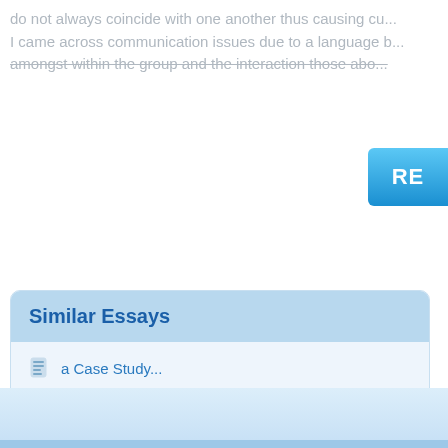do not always coincide with one another thus causing cu... I came across communication issues due to a language b... amongst within the group and the interaction those abo...
[Figure (screenshot): Blue gradient button with letters RE visible on right side]
Similar Essays
a Case Study...
...
Managing In...
Dm Type 2 Case Study
Hntb Case Study